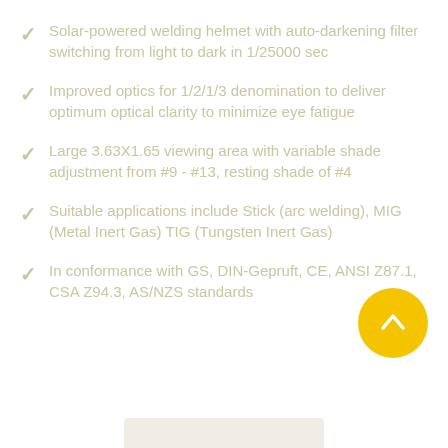Solar-powered welding helmet with auto-darkening filter switching from light to dark in 1/25000 sec
Improved optics for 1/2/1/3 denomination to deliver optimum optical clarity to minimize eye fatigue
Large 3.63X1.65 viewing area with variable shade adjustment from #9 - #13, resting shade of #4
Suitable applications include Stick (arc welding), MIG (Metal Inert Gas) TIG (Tungsten Inert Gas)
In conformance with GS, DIN-Gepruft, CE, ANSI Z87.1, CSA Z94.3, AS/NZS standards